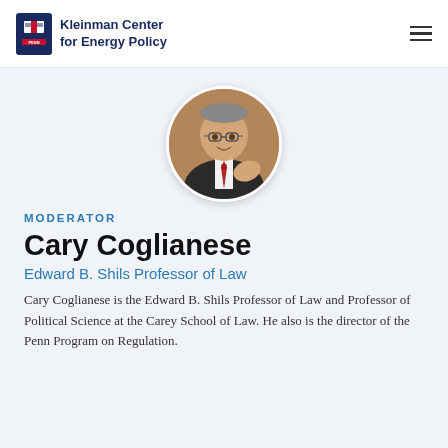Kleinman Center for Energy Policy
[Figure (photo): Circular headshot of Cary Coglianese, a man in glasses wearing a dark suit and red striped tie, gesturing with his hand]
MODERATOR
Cary Coglianese
Edward B. Shils Professor of Law
Cary Coglianese is the Edward B. Shils Professor of Law and Professor of Political Science at the Carey School of Law. He also is the director of the Penn Program on Regulation.